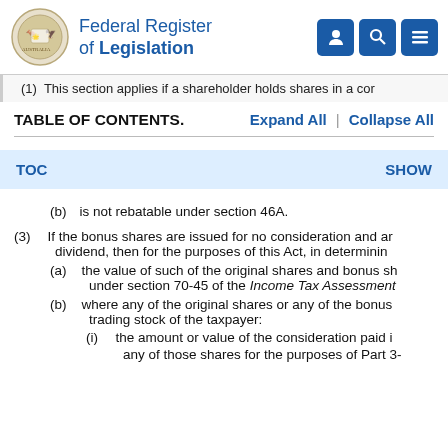Federal Register of Legislation
(1) This section applies if a shareholder holds shares in a cor
TABLE OF CONTENTS.    Expand All  |  Collapse All
TOC    SHOW
(b) is not rebatable under section 46A.
(3) If the bonus shares are issued for no consideration and ar dividend, then for the purposes of this Act, in determinin
(a) the value of such of the original shares and bonus sh under section 70-45 of the Income Tax Assessment
(b) where any of the original shares or any of the bonus trading stock of the taxpayer:
(i) the amount or value of the consideration paid i
any of those shares for the purposes of Part 3-